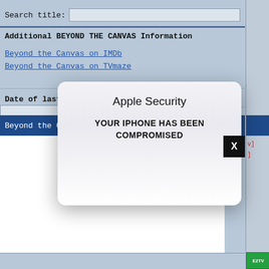Search title:
Additional BEYOND THE CANVAS Information
Beyond the Canvas on IMDb
Beyond the Canvas on TVmaze
Date of last
Beyond the C
[Figure (screenshot): Apple Security modal dialog overlay on a web page. The modal has a rounded white/grey gradient box with title 'Apple Security' and body text 'YOUR IPHONE HAS BEEN COMPROMISED'. A black X close button appears at the top right of the modal. Behind the modal is a web application interface with a blue background, monospace font, showing TV guide information about 'Beyond the Canvas'.]